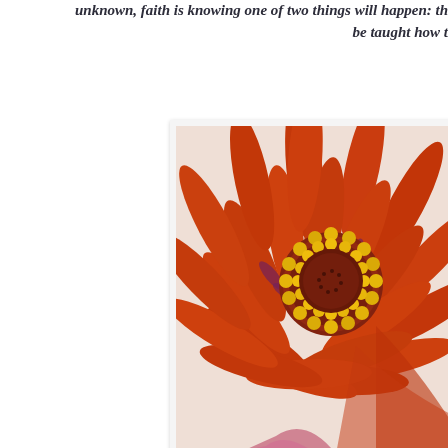unknown, faith is knowing one of two things will happen: th... be taught how t...
[Figure (photo): Close-up macro photograph of a bright orange zinnia flower with a yellow center filled with clustered stamens. The petals radiate outward showing deep red-orange color with hints of purple at the base. The photo is set against a white background and has a slight white border/frame.]